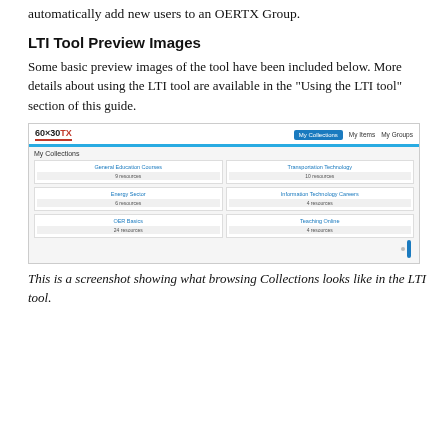automatically add new users to an OERTX Group.
LTI Tool Preview Images
Some basic preview images of the tool have been included below. More details about using the LTI tool are available in the "Using the LTI tool" section of this guide.
[Figure (screenshot): Screenshot of the 60x30TX OERTX LTI tool showing the My Collections view, with a navigation bar at the top containing My Collections (active/highlighted), My Items, and My Groups tabs. Below are six collection cards in a 2x3 grid: General Education Courses (9 resources), Transportation Technology (10 resources), Energy Sector (6 resources), Information Technology Careers (4 resources), OER Basics (24 resources), Teaching Online (4 resources).]
This is a screenshot showing what browsing Collections looks like in the LTI tool.